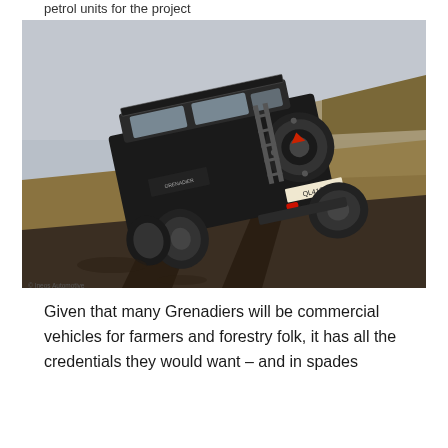petrol units for the project
[Figure (photo): A dark-coloured INEOS Grenadier 4x4 vehicle climbing a steep, muddy off-road hillside with dry grass and dark soil terrain visible. The vehicle is shown from the rear-quarter angle, tilted at a significant angle as it negotiates the rough terrain.]
© Ineos Automotive
Given that many Grenadiers will be commercial vehicles for farmers and forestry folk, it has all the credentials they would want – and in spades